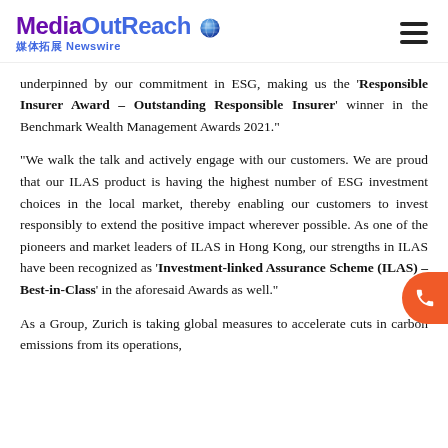MediaOutReach 媒体拓展 Newswire
underpinned by our commitment in ESG, making us the 'Responsible Insurer Award – Outstanding Responsible Insurer' winner in the Benchmark Wealth Management Awards 2021."
"We walk the talk and actively engage with our customers. We are proud that our ILAS product is having the highest number of ESG investment choices in the local market, thereby enabling our customers to invest responsibly to extend the positive impact wherever possible. As one of the pioneers and market leaders of ILAS in Hong Kong, our strengths in ILAS have been recognized as 'Investment-linked Assurance Scheme (ILAS) – Best-in-Class' in the aforesaid Awards as well."
As a Group, Zurich is taking global measures to accelerate cuts in carbon emissions from its operations,